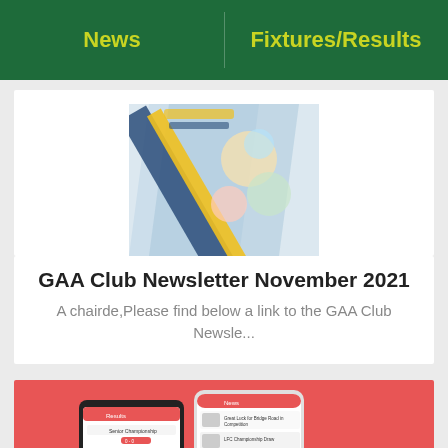News   Fixtures/Results
[Figure (photo): GAA Club Newsletter thumbnail image showing a collage of food and sporting items with a diagonal graphic overlay]
GAA Club Newsletter November 2021
A chairde,Please find below a link to the GAA Club Newsle...
[Figure (screenshot): Two mobile phone mockups (one Android, one iPhone) showing a GAA club app interface on a red background]